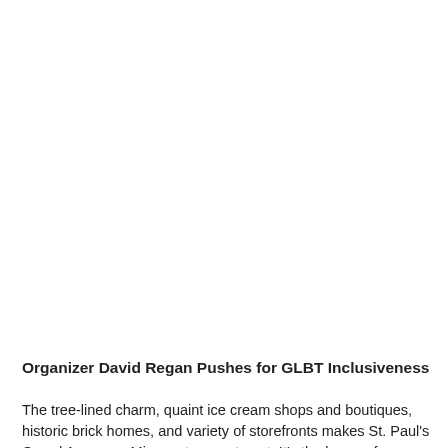Organizer David Regan Pushes for GLBT Inclusiveness
The tree-lined charm, quaint ice cream shops and boutiques, historic brick homes, and variety of storefronts makes St. Paul's Grand Avenue a Minnesota sweet spot. It's the home of a